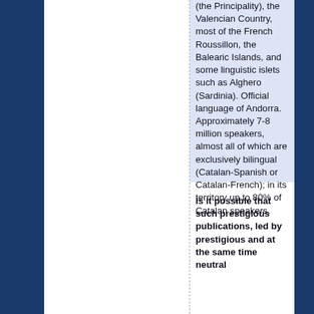(the Principality), the Valencian Country, most of the French Roussillon, the Balearic Islands, and some linguistic islets such as Alghero (Sardinia). Official language of Andorra. Approximately 7-8 million speakers, almost all of which are exclusively bilingual (Catalan-Spanish or Catalan-French); in its territory up to 80% of Catalan speakers.
Is it possible that such prestigious publications, led by prestigious and at the same time neutral